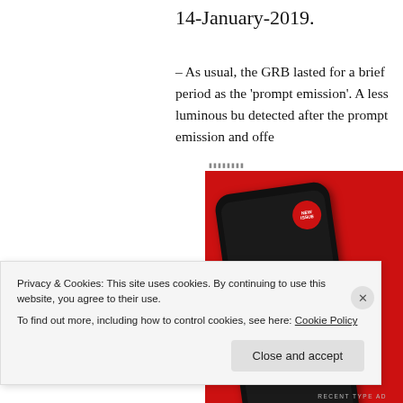14-January-2019.
– As usual, the GRB lasted for a brief period as the ‘prompt emission’. A less luminous bu detected after the prompt emission and offe
[Figure (photo): Advertisement showing a smartphone with red background displaying text 'Dis-tri-bute' on screen, with small ad label at top]
Privacy & Cookies: This site uses cookies. By continuing to use this website, you agree to their use.
To find out more, including how to control cookies, see here: Cookie Policy
Close and accept